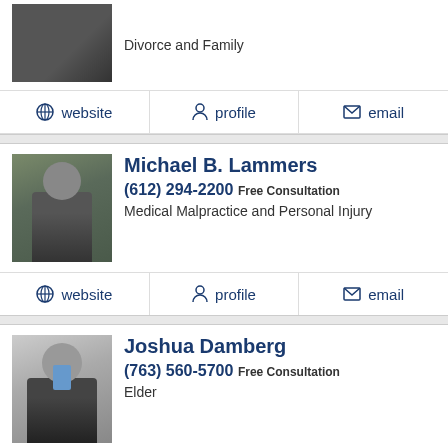Divorce and Family
website | profile | email
Michael B. Lammers
(612) 294-2200 Free Consultation
Medical Malpractice and Personal Injury
website | profile | email
Joshua Damberg
(763) 560-5700 Free Consultation
Elder
profile | email